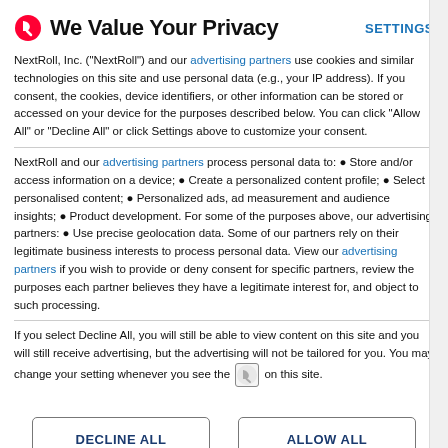We Value Your Privacy
NextRoll, Inc. ("NextRoll") and our advertising partners use cookies and similar technologies on this site and use personal data (e.g., your IP address). If you consent, the cookies, device identifiers, or other information can be stored or accessed on your device for the purposes described below. You can click "Allow All" or "Decline All" or click Settings above to customize your consent.
NextRoll and our advertising partners process personal data to: • Store and/or access information on a device; • Create a personalized content profile; • Select personalised content; • Personalized ads, ad measurement and audience insights; • Product development. For some of the purposes above, our advertising partners: • Use precise geolocation data. Some of our partners rely on their legitimate business interests to process personal data. View our advertising partners if you wish to provide or deny consent for specific partners, review the purposes each partner believes they have a legitimate interest for, and object to such processing.
If you select Decline All, you will still be able to view content on this site and you will still receive advertising, but the advertising will not be tailored for you. You may change your setting whenever you see the [icon] on this site.
DECLINE ALL
ALLOW ALL